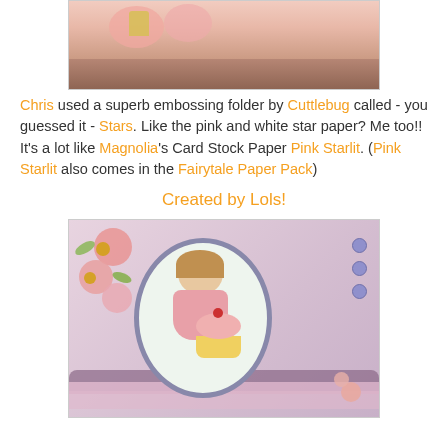[Figure (photo): Top portion of a handmade craft card showing pink and white star paper, partially visible]
Chris used a superb embossing folder by Cuttlebug called - you guessed it - Stars. Like the pink and white star paper? Me too!! It's a lot like Magnolia's Card Stock Paper Pink Starlit. (Pink Starlit also comes in the Fairytale Paper Pack)
Created by Lols!
[Figure (photo): Handmade craft card created by Lols featuring a girl holding a cupcake in an oval frame, decorated with pink paper flowers, purple buttons, and layered pink patterned paper]